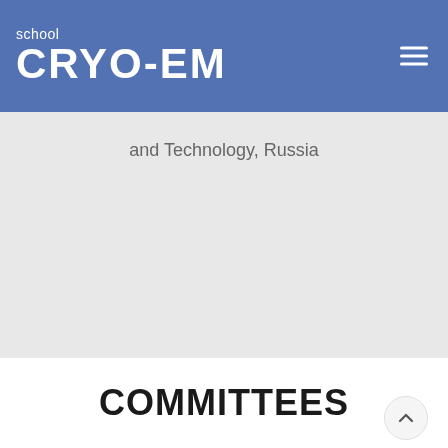school CRYO-EM
and Technology, Russia
COMMITTEES
ORGANIZING COMMITTEE